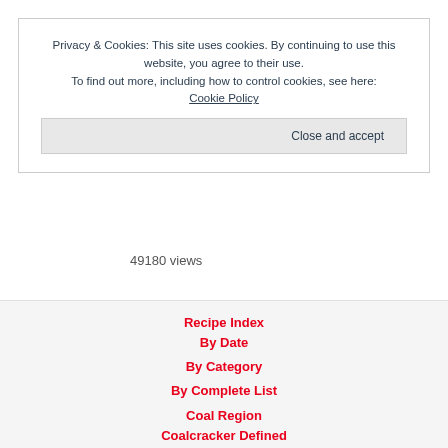Privacy & Cookies: This site uses cookies. By continuing to use this website, you agree to their use. To find out more, including how to control cookies, see here: Cookie Policy
Close and accept
49180 views
Recipe Index
By Date
By Category
By Complete List
Coal Region
Coalcracker Defined